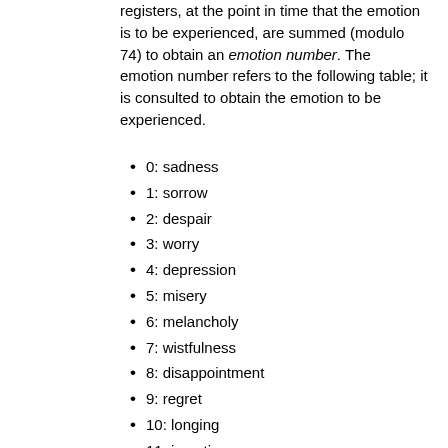registers, at the point in time that the emotion is to be experienced, are summed (modulo 74) to obtain an emotion number. The emotion number refers to the following table; it is consulted to obtain the emotion to be experienced.
0: sadness
1: sorrow
2: despair
3: worry
4: depression
5: misery
6: melancholy
7: wistfulness
8: disappointment
9: regret
10: longing
11: impatience
12: anger
13: hostility
14: rage
15: hatred
16: disgust
17: contempt